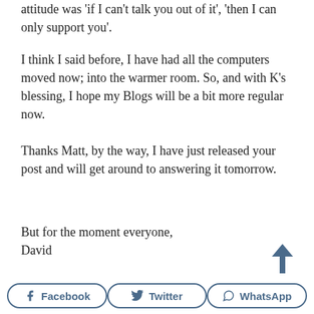attitude was 'if I can't talk you out of it', 'then I can only support you'.
I think I said before, I have had all the computers moved now; into the warmer room. So, and with K's blessing, I hope my Blogs will be a bit more regular now.
Thanks Matt, by the way, I have just released your post and will get around to answering it tomorrow.
But for the moment everyone,
David
[Figure (other): Up arrow / scroll-to-top icon]
[Figure (infographic): Social share buttons: Facebook, Twitter, WhatsApp]